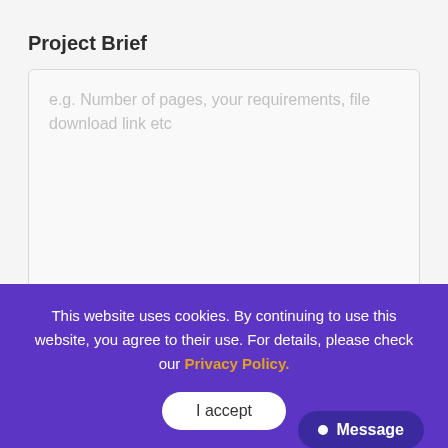Project Brief
e.g. Number of pages, your requirements, file download link etc
This website uses cookies. By continuing to use this website, you agree to their use. For details, please check our Privacy Policy.
I accept
Message